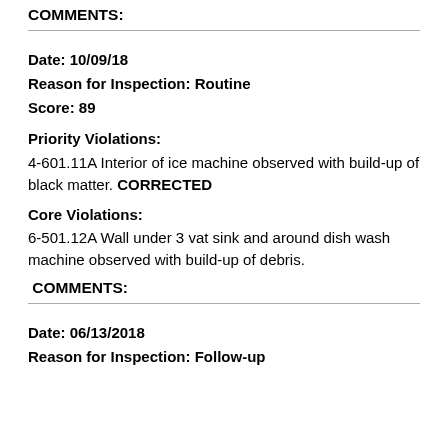COMMENTS:
Date: 10/09/18
Reason for Inspection: Routine
Score: 89
Priority Violations:
4-601.11A Interior of ice machine observed with build-up of black matter. CORRECTED
Core Violations:
6-501.12A Wall under 3 vat sink and around dish wash machine observed with build-up of debris.
COMMENTS:
Date: 06/13/2018
Reason for Inspection: Follow-up